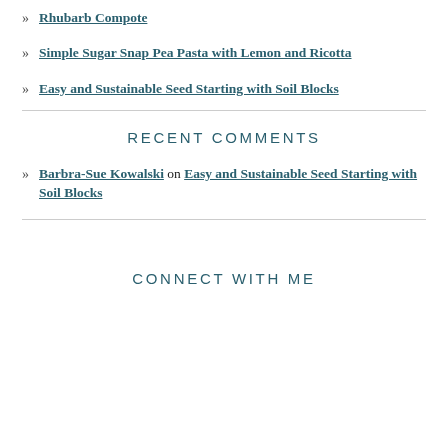Rhubarb Compote
Simple Sugar Snap Pea Pasta with Lemon and Ricotta
Easy and Sustainable Seed Starting with Soil Blocks
RECENT COMMENTS
Barbra-Sue Kowalski on Easy and Sustainable Seed Starting with Soil Blocks
CONNECT WITH ME